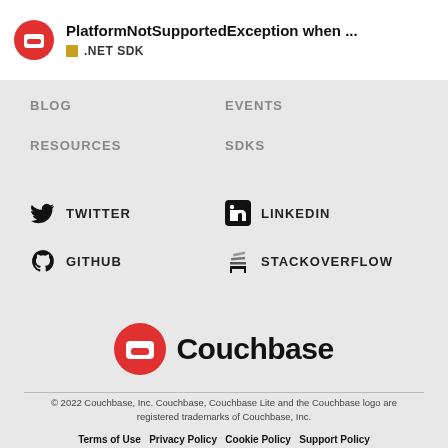PlatformNotSupportedException when ... · .NET SDK
BLOG
EVENTS
RESOURCES
SDKS
TWITTER
LINKEDIN
GITHUB
STACKOVERFLOW
[Figure (logo): Couchbase logo — red circle with white bucket icon and wordmark Couchbase]
© 2022 Couchbase, Inc. Couchbase, Couchbase Lite and the Couchbase logo are registered trademarks of Couchbase, Inc.
Terms of Use · Privacy Policy · Cookie Policy · Support Policy · Marketing Preference Center